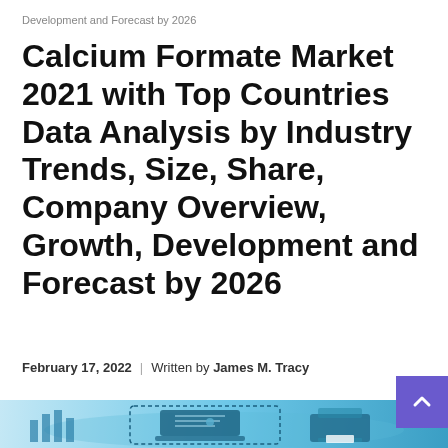Development and Forecast by 2026
Calcium Formate Market 2021 with Top Countries Data Analysis by Industry Trends, Size, Share, Company Overview, Growth, Development and Forecast by 2026
February 17, 2022 | Written by James M. Tracy
[Figure (illustration): Partial view of a market research infographic illustration showing bar charts, a world map, a laptop, and a printer on a blue/teal background. A purple scroll-to-top button with a caret (^) is visible in the upper right corner of the image area.]